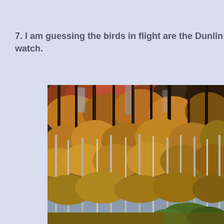7. I am guessing the birds in flight are the Dunlin watch.
[Figure (photo): Autumn forest scene showing dense trees with orange, red, yellow, and brown foliage. Tall slender tree trunks visible against a canopy of colorful autumn leaves. Some green shrubbery visible at the bottom right.]